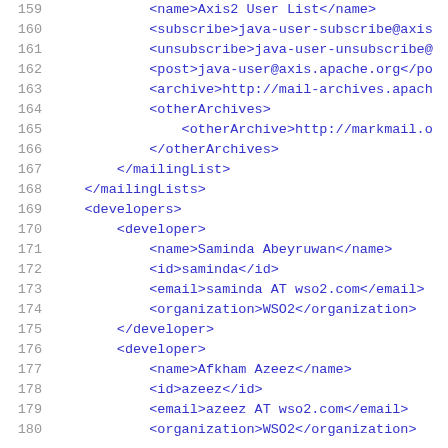Code listing lines 159-180: XML configuration snippet showing mailingList, mailingLists, developers, and developer elements with name, id, email, organization sub-elements